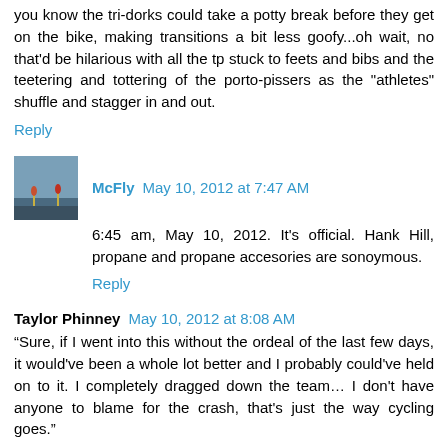you know the tri-dorks could take a potty break before they get on the bike, making transitions a bit less goofy...oh wait, no that'd be hilarious with all the tp stuck to feets and bibs and the teetering and tottering of the porto-pissers as the "athletes" shuffle and stagger in and out.
Reply
McFly May 10, 2012 at 7:47 AM
6:45 am, May 10, 2012. It's official. Hank Hill, propane and propane accesories are sonoymous.
Reply
Taylor Phinney May 10, 2012 at 8:08 AM
“Sure, if I went into this without the ordeal of the last few days, it would've been a whole lot better and I probably could've held on to it. I completely dragged down the team… I don't have anyone to blame for the crash, that's just the way cycling goes.”